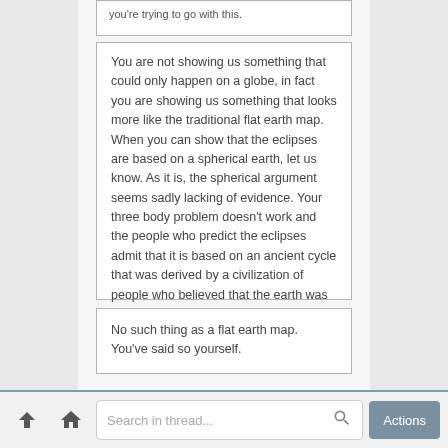you're trying to go with this.
You are not showing us something that could only happen on a globe, in fact you are showing us something that looks more like the traditional flat earth map. When you can show that the eclipses are based on a spherical earth, let us know. As it is, the spherical argument seems sadly lacking of evidence. Your three body problem doesn't work and the people who predict the eclipses admit that it is based on an ancient cycle that was derived by a civilization of people who believed that the earth was flat.
No such thing as a flat earth map. You've said so yourself.
The monopole model remains the current Flat Earth model until something can replace it. It's in the logo. So it's just a coincidence that the solar eclipses turn into perfect arcs and ovals on the official FE map? Strong evidence there.